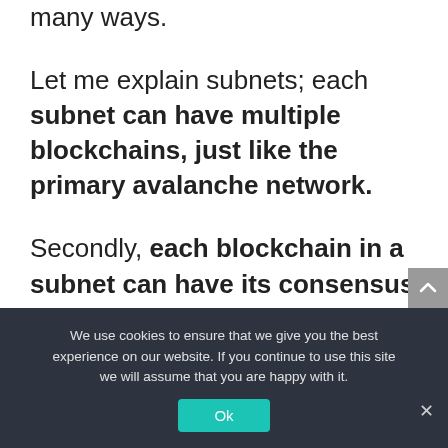many ways.
Let me explain subnets; each subnet can have multiple blockchains, just like the primary avalanche network.
Secondly, each blockchain in a subnet can have its consensus model. This means if you're creating one, you can pick proof of work or proof of stake depending on your needs.
We use cookies to ensure that we give you the best experience on our website. If you continue to use this site we will assume that you are happy with it.